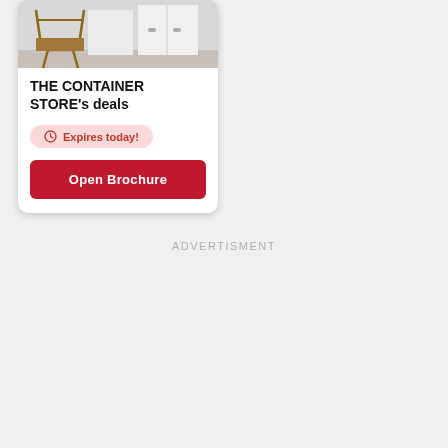[Figure (photo): Room interior photo showing a wooden stool/chair and white furniture, likely a closet or wardrobe, in a light-colored room.]
THE CONTAINER STORE's deals
Expires today!
Open Brochure
ADVERTISMENT